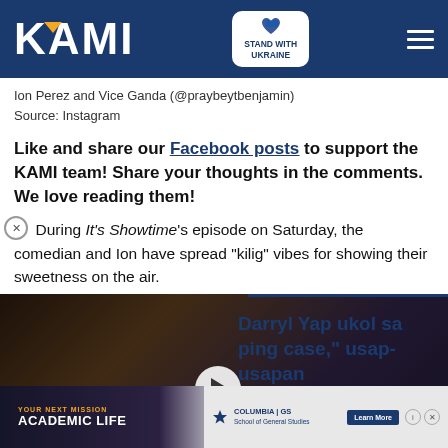KAMI — Stand With Ukraine
Ion Perez and Vice Ganda (@praybeytbenjamin)
Source: Instagram
Like and share our Facebook posts to support the KAMI team! Share your thoughts in the comments. We love reading them!
During It's Showtime's episode on Saturday, the comedian and Ion have spread "kilig" vibes for showing their sweetness on the air.
[Figure (screenshot): Video thumbnail showing two people, with pink label reading 'GOOGLE NOTIFIED DEMI OF HIS CHEATING', play button overlay, and close button]
Darryl Yap ukol sa ping case," usap-usapan
[Figure (screenshot): Advertisement banner: YOUR NEXT MISSION / ACADEMIC LIFE — Columbia GS School of General Studies. Learn More button shown.]